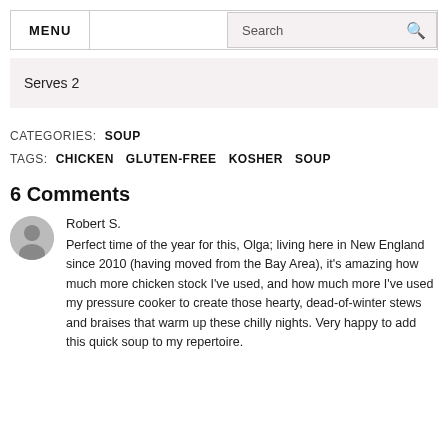MENU | Search
Serves 2
CATEGORIES: SOUP
TAGS: CHICKEN  GLUTEN-FREE  KOSHER  SOUP
6 Comments
Robert S.
Perfect time of the year for this, Olga; living here in New England since 2010 (having moved from the Bay Area), it's amazing how much more chicken stock I've used, and how much more I've used my pressure cooker to create those hearty, dead-of-winter stews and braises that warm up these chilly nights. Very happy to add this quick soup to my repertoire.